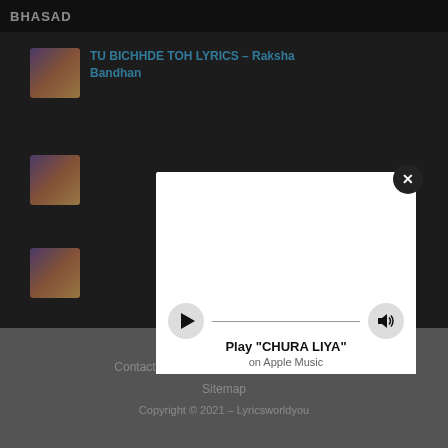BHASAD
TU BICHHDE TOH LYRICS – Raksha Bandhan
[Figure (screenshot): Thumbnail image of song artwork]
[Figure (screenshot): Second song listing thumbnail]
[Figure (screenshot): Third song listing thumbnail]
[Figure (infographic): Apple Music player widget showing Play CHURA LIYA with play button, progress bar, and volume button]
Play "CHURA LIYA"
on Apple Music
Contact Us   Privacy Policy   About Us
Sitemap
Copyright © 2021 – Lyricsworldyou